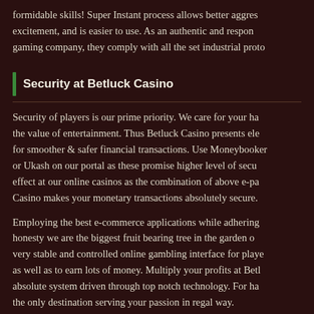formidable skills! Super Instant process allows better aggres excitement, and is easier to use. As an authentic and respon gaming company, they comply with all the set industrial proto
Security at Betluck Casino
Security of players is our prime priority. We care for your ha the value of entertainment. Thus Betluck Casino presents el for smoother & safer financial transactions. Use Moneybooker or Ukash on our portal as these promise higher level of secu effect at our online casinos as the combination of above e-pa Casino makes your monetary transactions absolutely secure.
Employing the best e-commerce applications while adhering honesty we are the biggest fruit bearing tree in the garden o very stable and controlled online gambling interface for playe as well as to earn lots of money. Multiply your profits at Betl absolute system driven through top notch technology. For ha the only destination serving your passion in regal way.
Ethics at Betluck Casino